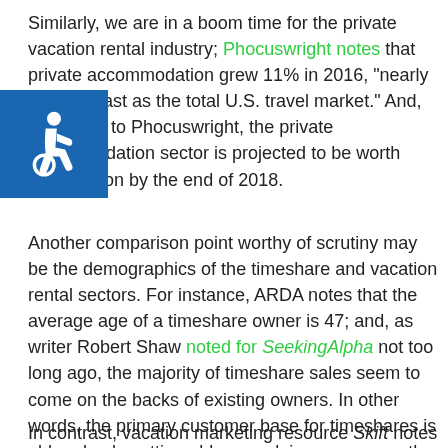Similarly, we are in a boom time for the private vacation rental industry; Phocuswright notes that private accommodation grew 11% in 2016, "nearly twice as fast as the total U.S. travel market." And, according to Phocuswright, the private accommodation sector is projected to be worth $36.6 billion by the end of 2018.
Another comparison point worthy of scrutiny may be the demographics of the timeshare and vacation rental sectors. For instance, ARDA notes that the average age of a timeshare owner is 47; and, as writer Robert Shaw noted for SeekingAlpha not too long ago, the majority of timeshare sales seem to come on the backs of existing owners. In other words, the primary customer base for timeshares is old and only getting older – and, in many ways, the industry's consumer-unfriendly practices have caused it to "eat its own young," potentially stunting its capacity for future growth.
In contrast, vacation marketing resource Skift notes that the